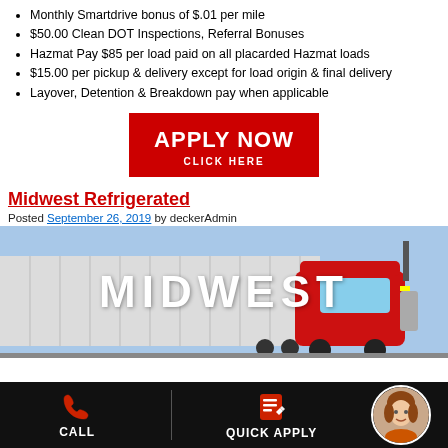Monthly Smartdrive bonus of $.01 per mile
$50.00 Clean DOT Inspections, Referral Bonuses
Hazmat Pay $85 per load paid on all placarded Hazmat loads
$15.00 per pickup & delivery except for load origin & final delivery
Layover, Detention & Breakdown pay when applicable
[Figure (infographic): Red button with white text: APPLY NOW / CLICK HERE]
Midwest Refrigerated
Posted September 26, 2019 by deckerAdmin
[Figure (photo): Red semi truck with refrigerated trailer. Text overlay: MIDWEST]
[Figure (infographic): Black footer bar with CALL button (phone icon), QUICK APPLY button (edit icon), and circular avatar photo of a woman]